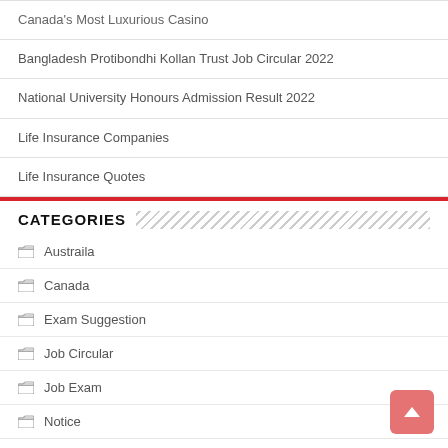Canada's Most Luxurious Casino
Bangladesh Protibondhi Kollan Trust Job Circular 2022
National University Honours Admission Result 2022
Life Insurance Companies
Life Insurance Quotes
CATEGORIES
Austraila
Canada
Exam Suggestion
Job Circular
Job Exam
Notice
Result
Routine